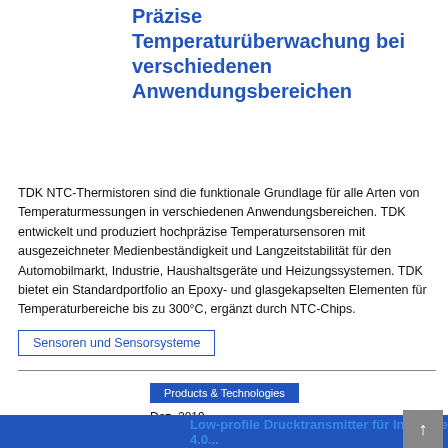Präzise Temperaturüberwachung bei verschiedenen Anwendungsbereichen
TDK NTC-Thermistoren sind die funktionale Grundlage für alle Arten von Temperaturmessungen in verschiedenen Anwendungsbereichen. TDK entwickelt und produziert hochpräzise Temperatursensoren mit ausgezeichneter Medienbeständigkeit und Langzeitstabilität für den Automobilmarkt, Industrie, Haushaltsgeräte und Heizungssystemen. TDK bietet ein Standardportfolio an Epoxy- und glasgekapselten Elementen für Temperaturbereiche bis zu 300°C, ergänzt durch NTC-Chips.
Sensoren und Sensorsysteme
Products & Technologies
Dez. 2019
[Produkt-Übersicht]
Low-profile Drucktransmitter für Industrie 4.0...